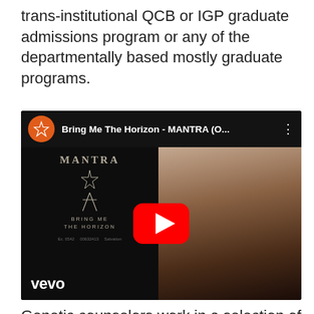trans-institutional QCB or IGP graduate admissions program or any of the departmentally based mostly graduate programs.
[Figure (screenshot): YouTube video thumbnail for 'Bring Me The Horizon - MANTRA (O...' showing the MANTRA album art on the left with a star symbol and two figures, text 'BRING ME THE HORIZON', codes 'Ec. 0542', '00632413', 'Salvation', and a video still on the right showing a crowd scene with a red YouTube play button. Vevo watermark in bottom left.]
Genetic counselors work in a selection of settings, including patient care, research, education, and advocacy. The program consists of coursework, scientific rotations, and analysis in the area of genetic counseling. Graduates of this system will complete 60